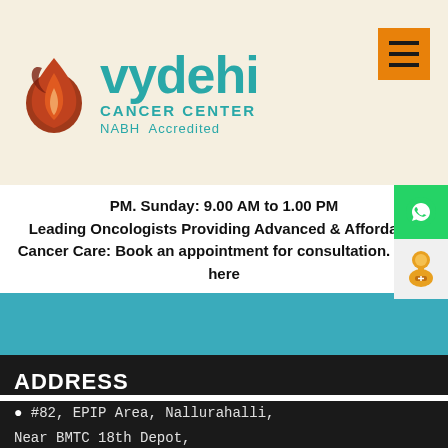[Figure (logo): Vydehi Cancer Center logo with flame icon and NABH Accredited text]
PM. Sunday: 9.00 AM to 1.00 PM
Leading Oncologists Providing Advanced & Affordable Cancer Care: Book an appointment for consultation. Click here
[Figure (illustration): Teal/cyan banner section]
ADDRESS
📍 #82, EPIP Area, Nallurahalli,
Near BMTC 18th Depot,
Whitefield, Bengaluru,
Karnataka 560066.
Book Appointment